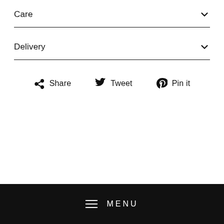Care
Delivery
Share  Tweet  Pin it
MENU